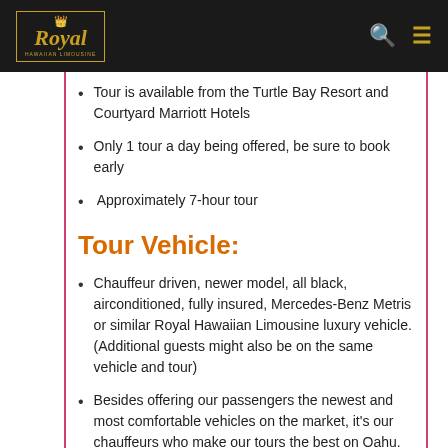Royal Hawaiian Limousine
Tour is available from the Turtle Bay Resort and Courtyard Marriott Hotels
Only 1 tour a day being offered, be sure to book early
Approximately 7-hour tour
Tour Vehicle:
Chauffeur driven, newer model, all black, airconditioned, fully insured, Mercedes-Benz Metris or similar Royal Hawaiian Limousine luxury vehicle. (Additional guests might also be on the same vehicle and tour)
Besides offering our passengers the newest and most comfortable vehicles on the market, it's our chauffeurs who make our tours the best on Oahu. Each of tour drivers goes through extensive background checks, along with intensive